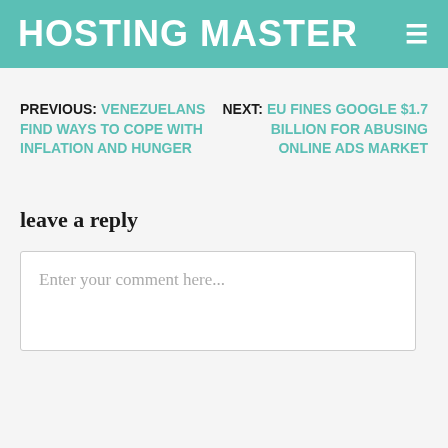HOSTING MASTER≡
PREVIOUS: VENEZUELANS FIND WAYS TO COPE WITH INFLATION AND HUNGER
NEXT: EU FINES GOOGLE $1.7 BILLION FOR ABUSING ONLINE ADS MARKET
leave a reply
Enter your comment here...